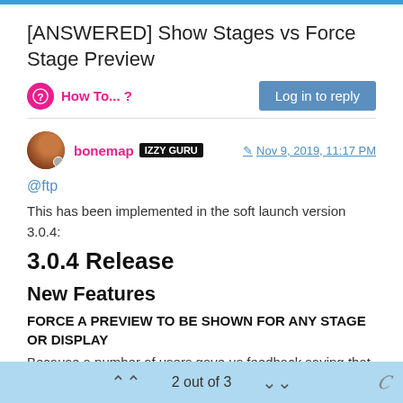[ANSWERED] Show Stages vs Force Stage Preview
How To... ?
Log in to reply
bonemap IZZY GURU   Nov 9, 2019, 11:17 PM
@ftp
This has been implemented in the soft launch version 3.0.4:
3.0.4 Release
New Features
FORCE A PREVIEW TO BE SHOWN FOR ANY STAGE OR DISPLAY
Because a number of users gave us feedback saying that this was important to their workflow, we added a new "Force On"
2 out of 3